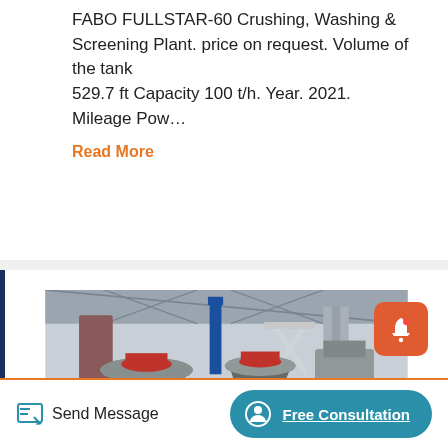FABO FULLSTAR-60 Crushing, Washing & Screening Plant. price on request. Volume of the tank 529.7 ft Capacity 100 t/h. Year. 2021. Mileage Pow…
Read More
[Figure (photo): Industrial factory interior showing crushing and screening plant machinery — large cone crushers and red-painted equipment on a concrete floor inside a steel-framed warehouse with a scissor lift in the background.]
Send Message
Free Consultation